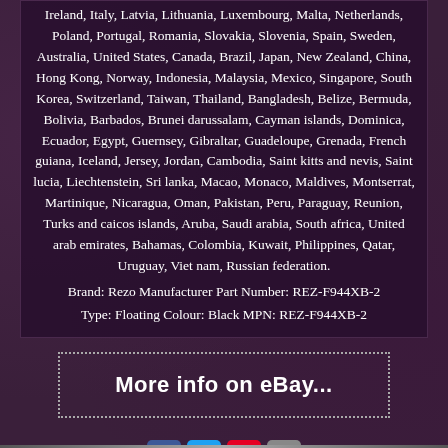Ireland, Italy, Latvia, Lithuania, Luxembourg, Malta, Netherlands, Poland, Portugal, Romania, Slovakia, Slovenia, Spain, Sweden, Australia, United States, Canada, Brazil, Japan, New Zealand, China, Hong Kong, Norway, Indonesia, Malaysia, Mexico, Singapore, South Korea, Switzerland, Taiwan, Thailand, Bangladesh, Belize, Bermuda, Bolivia, Barbados, Brunei darussalam, Cayman islands, Dominica, Ecuador, Egypt, Guernsey, Gibraltar, Guadeloupe, Grenada, French guiana, Iceland, Jersey, Jordan, Cambodia, Saint kitts and nevis, Saint lucia, Liechtenstein, Sri lanka, Macao, Monaco, Maldives, Montserrat, Martinique, Nicaragua, Oman, Pakistan, Peru, Paraguay, Reunion, Turks and caicos islands, Aruba, Saudi arabia, South africa, United arab emirates, Bahamas, Colombia, Kuwait, Philippines, Qatar, Uruguay, Viet nam, Russian federation.
Brand: Rezo Manufacturer Part Number: REZ-F944XB-2 Type: Floating Colour: Black MPN: REZ-F944XB-2
[Figure (other): Button with dotted border reading 'More info on eBay...']
[Figure (other): Social media icons: Facebook, Twitter, Pinterest, Email]